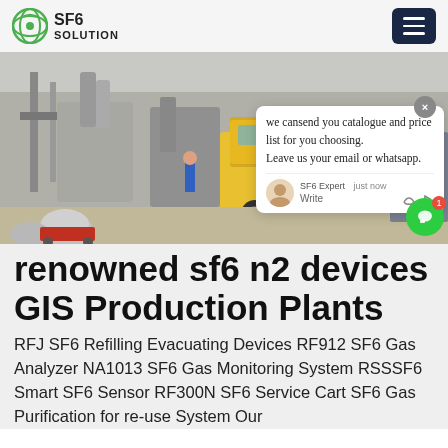SF6 SOLUTION
[Figure (photo): Outdoor industrial substation with grey electrical equipment and a yellow truck, workers visible in background]
renowned sf6 n2 devices GIS Production Plants
RFJ SF6 Refilling Evacuating Devices RF912 SF6 Gas Analyzer NA1013 SF6 Gas Monitoring System RSSSF6 Smart SF6 Sensor RF300N SF6 Service Cart SF6 Gas Purification for re-use System Our